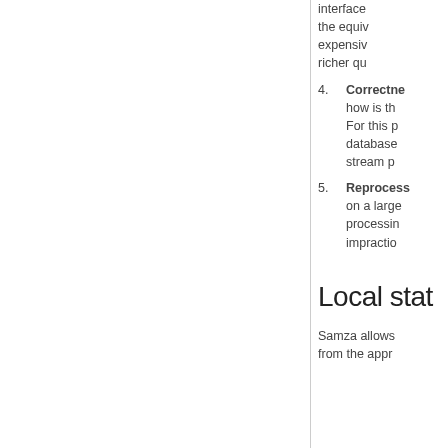interface the equivalent expensive richer qu
4. Correctness: how is the For this p database stream p
5. Reprocessing: on a large processing impractio
Local stat
Samza allows from the appr